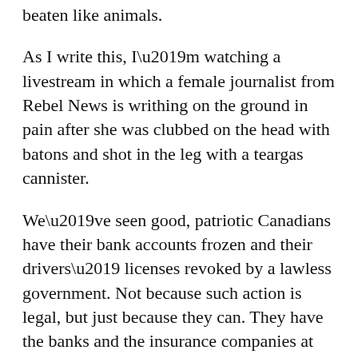beaten like animals.
As I write this, I’m watching a livestream in which a female journalist from Rebel News is writhing on the ground in pain after she was clubbed on the head with batons and shot in the leg with a teargas cannister.
We’ve seen good, patriotic Canadians have their bank accounts frozen and their drivers’ licenses revoked by a lawless government. Not because such action is legal, but just because they can. They have the banks and the insurance companies at their disposal.